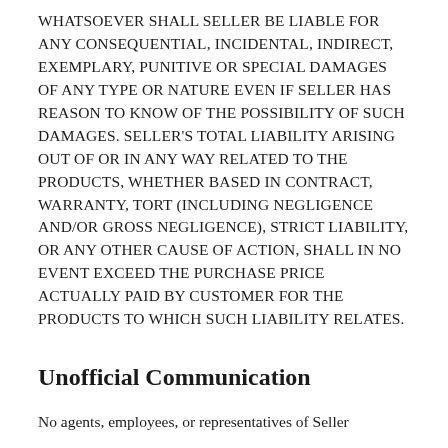WHATSOEVER SHALL SELLER BE LIABLE FOR ANY CONSEQUENTIAL, INCIDENTAL, INDIRECT, EXEMPLARY, PUNITIVE OR SPECIAL DAMAGES OF ANY TYPE OR NATURE EVEN IF SELLER HAS REASON TO KNOW OF THE POSSIBILITY OF SUCH DAMAGES. SELLER'S TOTAL LIABILITY ARISING OUT OF OR IN ANY WAY RELATED TO THE PRODUCTS, WHETHER BASED IN CONTRACT, WARRANTY, TORT (INCLUDING NEGLIGENCE AND/OR GROSS NEGLIGENCE), STRICT LIABILITY, OR ANY OTHER CAUSE OF ACTION, SHALL IN NO EVENT EXCEED THE PURCHASE PRICE ACTUALLY PAID BY CUSTOMER FOR THE PRODUCTS TO WHICH SUCH LIABILITY RELATES.
Unofficial Communication
No agents, employees, or representatives of Seller